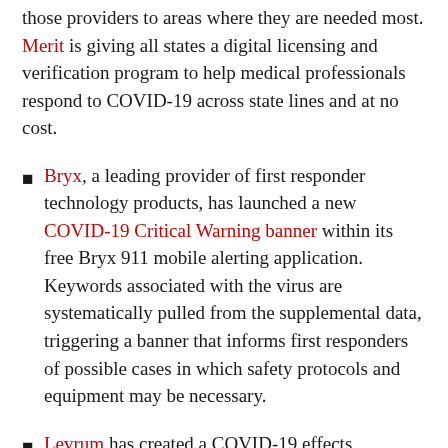those providers to areas where they are needed most. Merit is giving all states a digital licensing and verification program to help medical professionals respond to COVID-19 across state lines and at no cost.
Bryx, a leading provider of first responder technology products, has launched a new COVID-19 Critical Warning banner within its free Bryx 911 mobile alerting application. Keywords associated with the virus are systematically pulled from the supplemental data, triggering a banner that informs first responders of possible cases in which safety protocols and equipment may be necessary.
Levrum has created a COVID-19 effects simulator to help organizations gauge the impacts of different epidemiology parameters for the pandemic on the organization's ability to respond, based upon disease incidence progression in the community and the rates